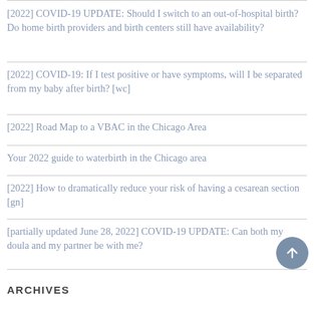[2022] COVID-19 UPDATE: Should I switch to an out-of-hospital birth? Do home birth providers and birth centers still have availability?
[2022] COVID-19: If I test positive or have symptoms, will I be separated from my baby after birth? [wc]
[2022] Road Map to a VBAC in the Chicago Area
Your 2022 guide to waterbirth in the Chicago area
[2022] How to dramatically reduce your risk of having a cesarean section [gn]
[partially updated June 28, 2022] COVID-19 UPDATE: Can both my doula and my partner be with me?
ARCHIVES